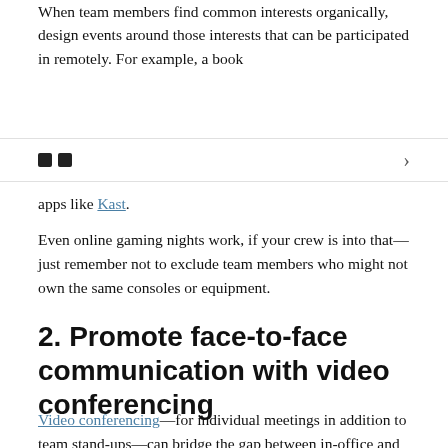When team members find common interests organically, design events around those interests that can be participated in remotely. For example, a book
apps like Kast.
Even online gaming nights work, if your crew is into that—just remember not to exclude team members who might not own the same consoles or equipment.
2. Promote face-to-face communication with video conferencing
Video conferencing—for individual meetings in addition to team stand-ups—can bridge the gap between in-office and remote team members. Jones and